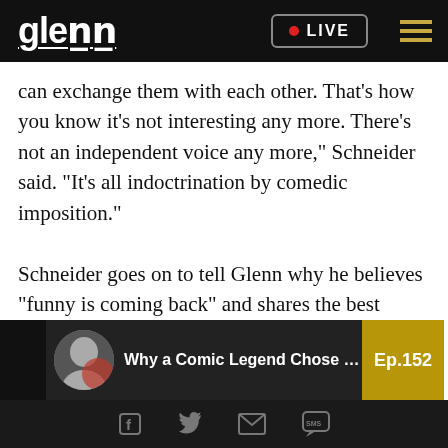glenn • LIVE ≡
can exchange them with each other. That's how you know it's not interesting any more. There's not an independent voice any more," Schneider said. "It's all indoctrination by comedic imposition."
Schneider goes on to tell Glenn why he believes “funny is coming back” and shares the best advice a comedian ever gave him. Watch "The Glenn Beck Podcast" below.
[Figure (screenshot): YouTube video thumbnail showing a man's face, title 'Why a Comic Legend Chose His C...' with Ep.152 badge]
Facebook Twitter Email SMS social share icons